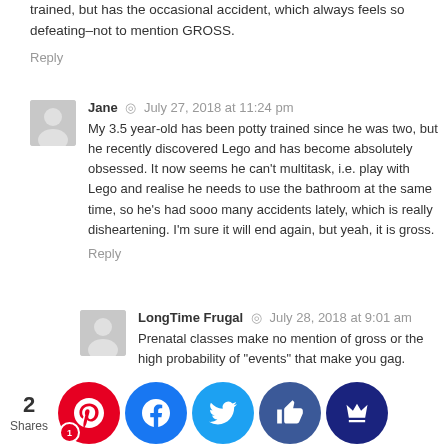trained, but has the occasional accident, which always feels so defeating–not to mention GROSS.
Reply
Jane · July 27, 2018 at 11:24 pm
My 3.5 year-old has been potty trained since he was two, but he recently discovered Lego and has become absolutely obsessed. It now seems he can't multitask, i.e. play with Lego and realise he needs to use the bathroom at the same time, so he's had sooo many accidents lately, which is really disheartening. I'm sure it will end again, but yeah, it is gross.
Reply
LongTime Frugal · July 28, 2018 at 9:01 am
Prenatal classes make no mention of gross or the high probability of "events" that make you gag.
Reply
Jana Colgin · July 27, 2018 at 8:42 am
Great job! You get an A+ and extra credit for this wonderful b... Well ...u're ki... mean... k at al... the ...xclamatio... nts you've ...ned!!